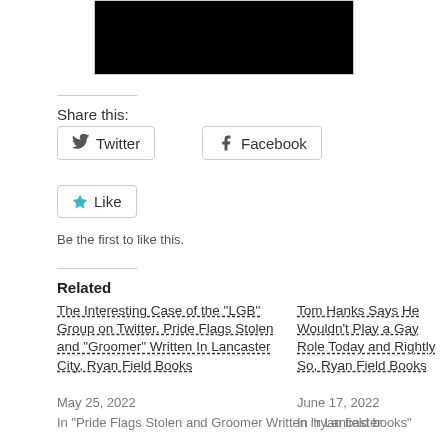[Figure (photo): Dark/black photograph partially visible at top of page]
Share this:
Twitter
Facebook
Like
Be the first to like this.
Related
The Interesting Case of the "LGB" Group on Twitter. Pride Flags Stolen and "Groomer" Written In Lancaster City, Ryan Field Books
May 25, 2022
In "Pride Flags Stolen and Groomer Written in Lancaster
Tom Hanks Says He Wouldn't Play a Gay Role Today and Rightly So, Ryan Field Books
June 17, 2022
In "ryan field books"